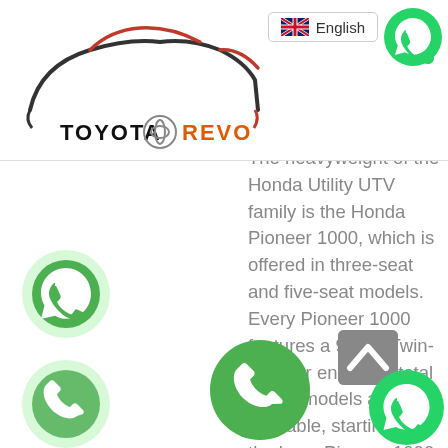[Figure (logo): Toyota Revo logo with car silhouette outline, Toyota emblem, text TOYOTA in black and REVO in orange]
[Figure (other): UK flag icon with text English - language selector button]
[Figure (other): WhatsApp green circle icon, top right]
The heavyweight of the Honda Utility UTV family is the Honda Pioneer 1000, which is offered in three-seat and five-seat models. Every Pioneer 1000 features a 999cc Twin-cylinder engine. A total of five models are available, starting with the base Pioneer 1000. Upgrade to the 1000 Deluxe for 14-inch blacked out aluminum wheels, LED headlights, and available Honda Phantom camo. As for the five-seat Pioneer 1000-5 comes stock with power steering, QuickFlip convertible seating
[Figure (other): WhatsApp green circle icon, left middle]
[Figure (other): Phone green circle icon, left bottom]
[Figure (other): Phone green circle icon, center bottom]
[Figure (other): Back to top grey button with up arrow]
[Figure (other): WhatsApp green circle icon, bottom right]